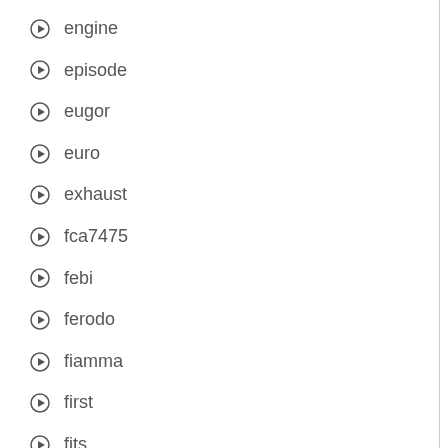engine
episode
eugor
euro
exhaust
fca7475
febi
ferodo
fiamma
first
fits
fitting
flange
folding